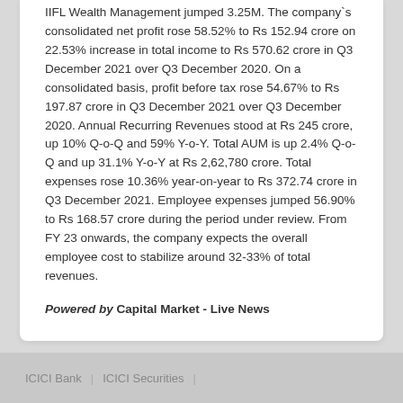IIFL Wealth Management jumped 3.25M. The company`s consolidated net profit rose 58.52% to Rs 152.94 crore on 22.53% increase in total income to Rs 570.62 crore in Q3 December 2021 over Q3 December 2020. On a consolidated basis, profit before tax rose 54.67% to Rs 197.87 crore in Q3 December 2021 over Q3 December 2020. Annual Recurring Revenues stood at Rs 245 crore, up 10% Q-o-Q and 59% Y-o-Y. Total AUM is up 2.4% Q-o-Q and up 31.1% Y-o-Y at Rs 2,62,780 crore. Total expenses rose 10.36% year-on-year to Rs 372.74 crore in Q3 December 2021. Employee expenses jumped 56.90% to Rs 168.57 crore during the period under review. From FY 23 onwards, the company expects the overall employee cost to stabilize around 32-33% of total revenues.
Powered by Capital Market - Live News
ICICI Bank | ICICI Securities |